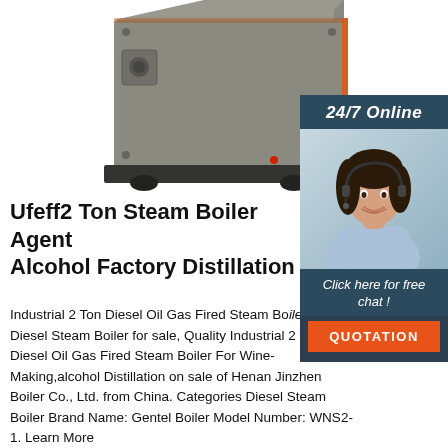[Figure (photo): Industrial steam boiler unit, grey metal casing with orange accent trim, photographed from the front-left angle on white background]
[Figure (photo): Customer service representative (woman with headset, smiling) with 24/7 Online overlay, 'Click here for free chat!' text, and orange QUOTATION button on dark navy sidebar]
Ufeff2 Ton Steam Boiler Agent Alcohol Factory Distillation
Industrial 2 Ton Diesel Oil Gas Fired Steam Boiler For In... Diesel Steam Boiler for sale, Quality Industrial 2 Ton Diesel Oil Gas Fired Steam Boiler For Wine-Making,alcohol Distillation on sale of Henan Jinzhen Boiler Co., Ltd. from China. Categories Diesel Steam Boiler Brand Name: Gentel Boiler Model Number: WNS2-1. Learn More